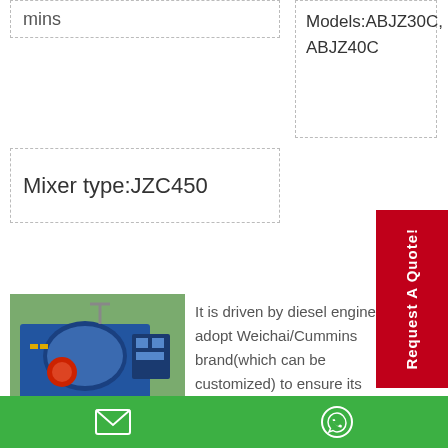mins
Models:ABJZ30C, ABJZ40C
Mixer type:JZC450
[Figure (photo): Blue diesel-driven concrete mixer machine on a platform, showing engine and mixing drum components]
It is driven by diesel engine. We adopt Weichai/Cummins brand(which can be customized) to ensure its service life to the utmost extent. In some remote areas where electric power is not widely used, the diesel type is a better choice. In addition, it can adapt to various working environment.
Request A Quote!